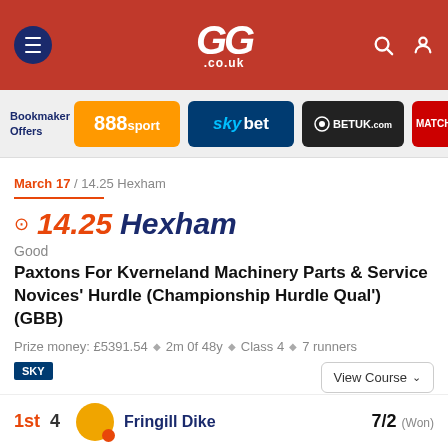GG.co.uk
[Figure (logo): GG.co.uk website header with navigation menu icon, GG logo with horse and jockey illustration, search icon, and user account icon on red/orange background]
Bookmaker Offers — 888sport, sky bet, BETUK.com, MATCH...
March 17 / 14.25 Hexham
14.25 Hexham
Good
Paxtons For Kverneland Machinery Parts & Service Novices' Hurdle (Championship Hurdle Qual') (GBB)
Prize money: £5391.54 ◆ 2m 0f 48y ◆ Class 4 ◆ 7 runners
SKY
View Course
1st  4  Fringill Dike  7/2 (Won)